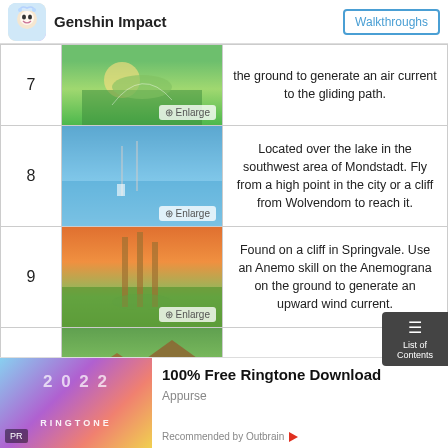Genshin Impact | Walkthroughs
| # | Image | Description |
| --- | --- | --- |
| 7 | [image] | the ground to generate an air current to the gliding path. |
| 8 | [image] | Located over the lake in the southwest area of Mondstadt. Fly from a high point in the city or a cliff from Wolvendom to reach it. |
| 9 | [image] | Found on a cliff in Springvale. Use an Anemo skill on the Anemograna on the ground to generate an upward wind current. |
| 10 | [image] | Found on the roof of a house in Springvale. |
[Figure (infographic): Advertisement banner for 100% Free Ringtone Download by Appurse, with colorful 2022 ringtone themed background image]
100% Free Ringtone Download
Appurse
Recommended by Outbrain